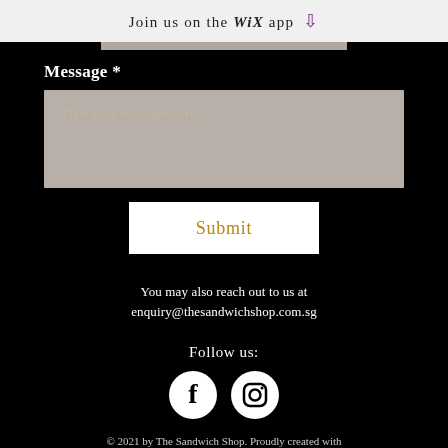Join us on the WiX app ↓
Message *
Type your message here...
Submit
You may also reach out to us at enquiry@thesandwichshop.com.sg
Follow us:
[Figure (illustration): Facebook and Instagram social media icon circles (white on black background)]
© 2021 by The Sandwich Shop. Proudly created with Wix.com